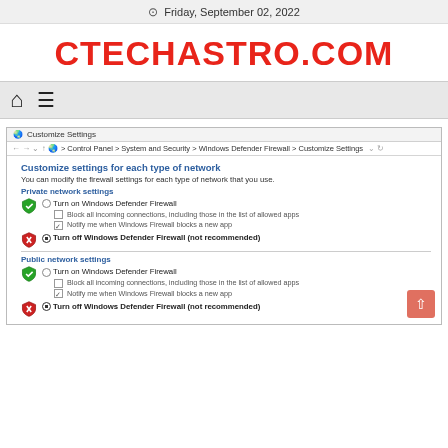Friday, September 02, 2022
CTECHASTRO.COM
[Figure (screenshot): Windows Customize Settings dialog showing firewall settings. Browser address bar shows: Control Panel > System and Security > Windows Defender Firewall > Customize Settings. The dialog shows Private network settings with a green shield (Turn on Windows Defender Firewall selected as radio off) and a red shield (Turn off Windows Defender Firewall (not recommended) selected). Public network settings shows the same pattern.]